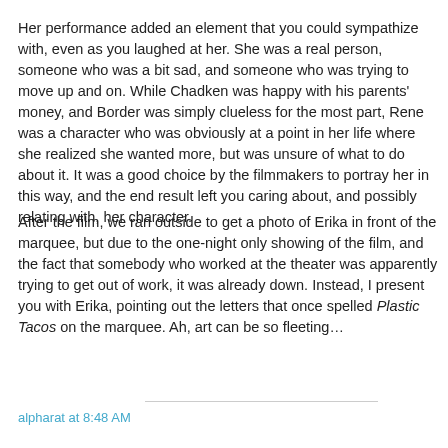Her performance added an element that you could sympathize with, even as you laughed at her. She was a real person, someone who was a bit sad, and someone who was trying to move up and on. While Chadken was happy with his parents' money, and Border was simply clueless for the most part, Rene was a character who was obviously at a point in her life where she realized she wanted more, but was unsure of what to do about it. It was a good choice by the filmmakers to portray her in this way, and the end result left you caring about, and possibly relating with, her character.
After the film, we ran outside to get a photo of Erika in front of the marquee, but due to the one-night only showing of the film, and the fact that somebody who worked at the theater was apparently trying to get out of work, it was already down. Instead, I present you with Erika, pointing out the letters that once spelled Plastic Tacos on the marquee. Ah, art can be so fleeting…
alpharat at 8:48 AM